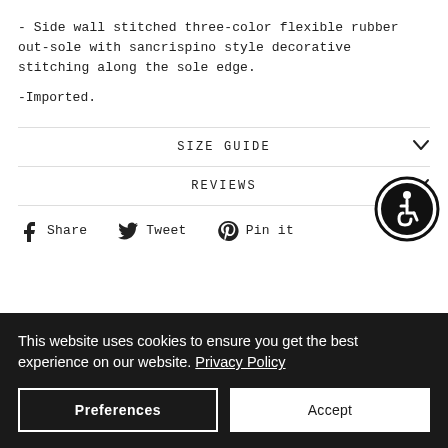- Side wall stitched three-color flexible rubber out-sole with sancrispino style decorative stitching along the sole edge.
-Imported.
SIZE GUIDE
REVIEWS
[Figure (other): Social sharing icons row: Facebook Share, Twitter Tweet, Pinterest Pin it]
[Figure (other): Circular accessibility button with wheelchair icon]
This website uses cookies to ensure you get the best experience on our website. Privacy Policy
Preferences
Accept